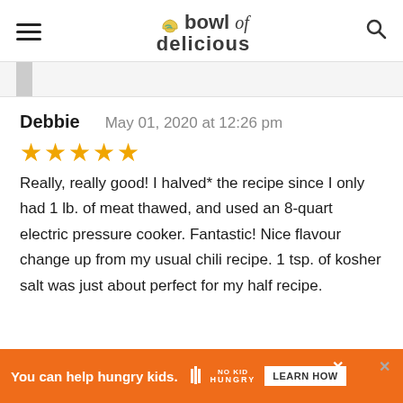bowl of delicious
Debbie — May 01, 2020 at 12:26 pm
★★★★★
Really, really good! I halved* the recipe since I only had 1 lb. of meat thawed, and used an 8-quart electric pressure cooker. Fantastic! Nice flavour change up from my usual chili recipe. 1 tsp. of kosher salt was just about perfect for my half recipe.
You can help hungry kids. NO KID HUNGRY LEARN HOW